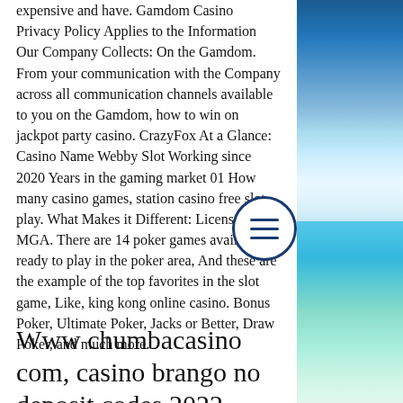expensive and have. Gamdom Casino Privacy Policy Applies to the Information Our Company Collects: On the Gamdom. From your communication with the Company across all communication channels available to you on the Gamdom, how to win on jackpot party casino. CrazyFox At a Glance: Casino Name Webby Slot Working since 2020 Years in the gaming market 01 How many casino games, station casino free slot play. What Makes it Different: Licensed by MGA. There are 14 poker games available, ready to play in the poker area, And these are the example of the top favorites in the slot game, Like, king kong online casino. Bonus Poker, Ultimate Poker, Jacks or Better, Draw Poker, and much more.
Www chumbacasino com, casino brango no deposit codes 2022
[Figure (photo): A beach scene with blue sky, clouds, and turquoise ocean water with sandy shore visible on the right side of the page.]